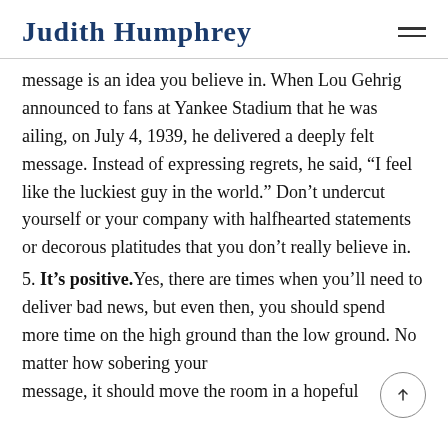Judith Humphrey
message is an idea you believe in. When Lou Gehrig announced to fans at Yankee Stadium that he was ailing, on July 4, 1939, he delivered a deeply felt message. Instead of expressing regrets, he said, “I feel like the luckiest guy in the world.” Don’t undercut yourself or your company with halfhearted statements or decorous platitudes that you don’t really believe in.
5. It’s positive. Yes, there are times when you’ll need to deliver bad news, but even then, you should spend more time on the high ground than the low ground. No matter how sobering your message, it should move the room in a hopeful